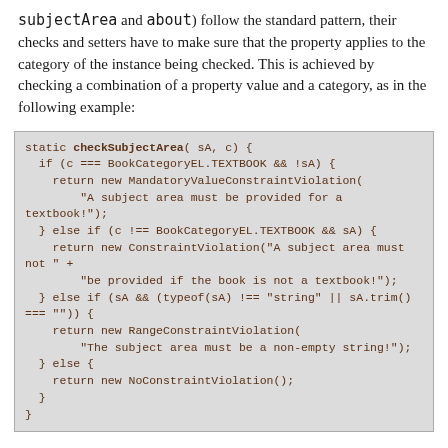subjectArea and about) follow the standard pattern, their checks and setters have to make sure that the property applies to the category of the instance being checked. This is achieved by checking a combination of a property value and a category, as in the following example:
[Figure (screenshot): Code block showing static checkSubjectArea function in JavaScript with conditional checks for BookCategoryEL.TEXTBOOK and subject area validation returning various constraint violation objects.]
In the serialization function toString, we serialize the category attribute and the segment properties in a switch statement:
[Figure (screenshot): Start of toString() { code block.]